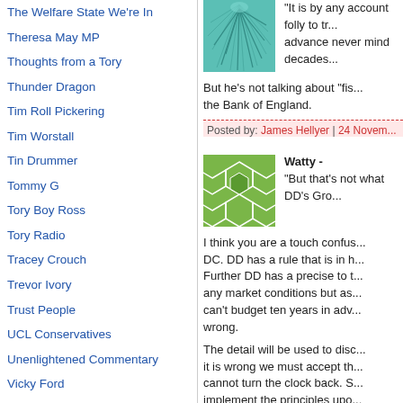The Welfare State We're In
Theresa May MP
Thoughts from a Tory
Thunder Dragon
Tim Roll Pickering
Tim Worstall
Tin Drummer
Tommy G
Tory Boy Ross
Tory Radio
Tracey Crouch
Trevor Ivory
Trust People
UCL Conservatives
Unenlightened Commentary
Vicky Ford
Waendel Journal
Warlington
[Figure (illustration): Teal/cyan abstract fractal or fiber illustration, square thumbnail]
"It is by any account folly to tr... advance never mind decades...
But he's not talking about "fis... the Bank of England.
Posted by: James Hellyer | 24 Novem...
[Figure (illustration): Green geometric polygon/honeycomb pattern, square thumbnail]
Watty -
"But that's not what DD's Gro...
I think you are a touch confus... DC. DD has a rule that is in h... Further DD has a precise to t... any market conditions but as... can't budget ten years in adv... wrong.
The detail will be used to disc... it is wrong we must accept th... cannot turn the clock back. S... implement the principles upo... best way to achieve this is to...